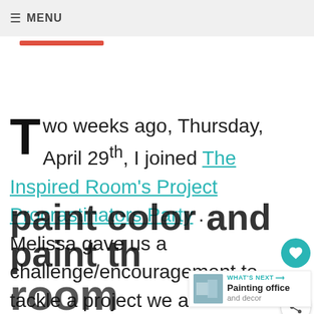≡ MENU
Two weeks ago, Thursday, April 29th, I joined The Inspired Room's Project Procrastinators Party . Melissa gave us a challenge/encouragement to tackle a project we are procrastinating on . I declared that I would finally choose a paint color and paint the room that...